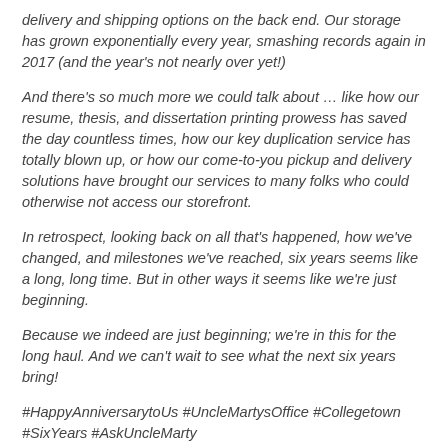delivery and shipping options on the back end. Our storage has grown exponentially every year, smashing records again in 2017 (and the year's not nearly over yet!)
And there's so much more we could talk about … like how our resume, thesis, and dissertation printing prowess has saved the day countless times, how our key duplication service has totally blown up, or how our come-to-you pickup and delivery solutions have brought our services to many folks who could otherwise not access our storefront.
In retrospect, looking back on all that's happened, how we've changed, and milestones we've reached, six years seems like a long, long time. But in other ways it seems like we're just beginning.
Because we indeed are just beginning; we're in this for the long haul. And we can't wait to see what the next six years bring!
#HappyAnniversarytoUs #UncleMartysOffice #Collegetown #SixYears #AskUncleMarty